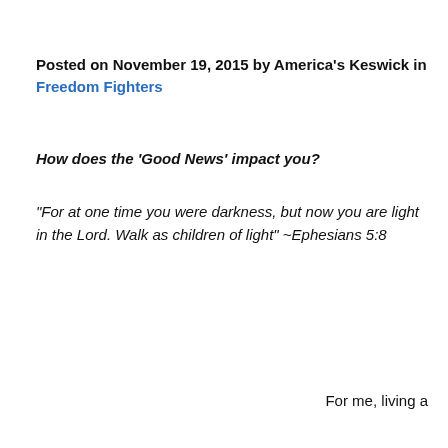Posted on November 19, 2015 by America's Keswick in Freedom Fighters
How does the ‘Good News’ impact you?
“For at one time you were darkness, but now you are light in the Lord. Walk as children of light” ~Ephesians 5:8
For me, living a